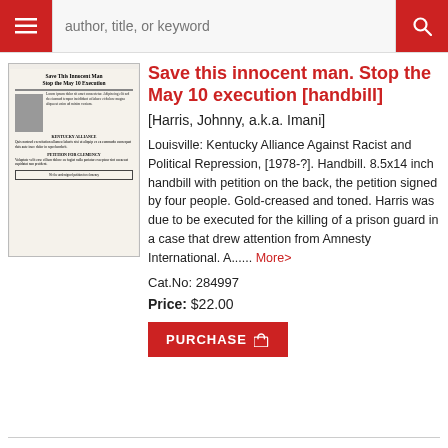[Figure (screenshot): Website navigation bar with hamburger menu button on left, search field with placeholder 'author, title, or keyword', and red search button on right]
[Figure (photo): Scanned handbill titled 'Save This Innocent Man Stop the May 10 Execution' with photo of person and text columns]
Save this innocent man. Stop the May 10 execution [handbill]
[Harris, Johnny, a.k.a. Imani]
Louisville: Kentucky Alliance Against Racist and Political Repression, [1978-?]. Handbill. 8.5x14 inch handbill with petition on the back, the petition signed by four people. Gold-creased and toned. Harris was due to be executed for the killing of a prison guard in a case that drew attention from Amnesty International. A...... More>
Cat.No: 284997
Price: $22.00
PURCHASE